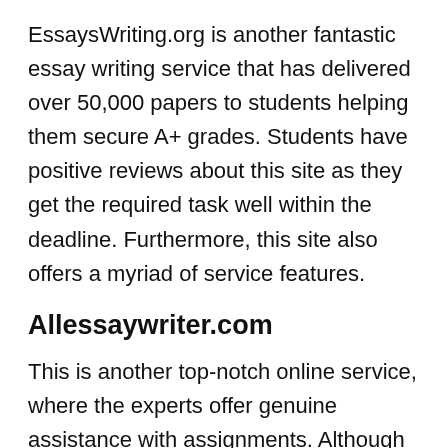EssaysWriting.org is another fantastic essay writing service that has delivered over 50,000 papers to students helping them secure A+ grades. Students have positive reviews about this site as they get the required task well within the deadline. Furthermore, this site also offers a myriad of service features.
Allessaywriter.com
This is another top-notch online service, where the experts offer genuine assistance with assignments. Although the service is based in the US, students all over the world can avail their assistance. You get help with countless subjects and at a pocket-friendly price. Students can ask for